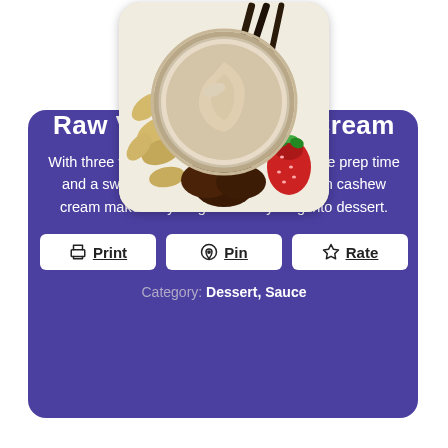[Figure (photo): A bowl of raw vegan cashew cream surrounded by cashews, Medjool dates, a strawberry, and vanilla beans on a white background.]
Raw Vegan Cashew Cream
With three wholefood ingredients, a 5 minute prep time and a sweet, creamy taste, this raw vegan cashew cream makes anything and everything into dessert.
Print  Pin  Rate
Category: Dessert, Sauce